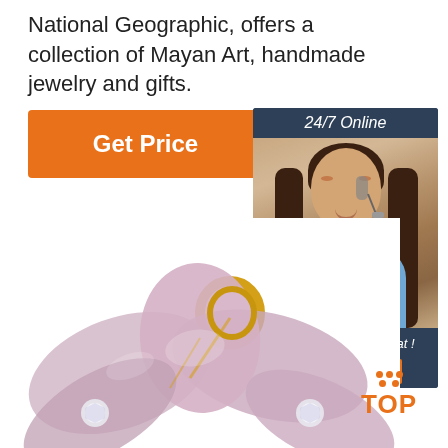National Geographic, offers a collection of Mayan Art, handmade jewelry and gifts.
[Figure (other): Orange 'Get Price' button]
[Figure (other): 24/7 Online chat widget with a woman wearing a headset, 'Click here for free chat!' text and an orange QUOTATION button]
[Figure (photo): Pink and gold flower-shaped enameled jewelry piece with crystal accents]
[Figure (other): Orange 'TOP' button with dot pattern above the text]